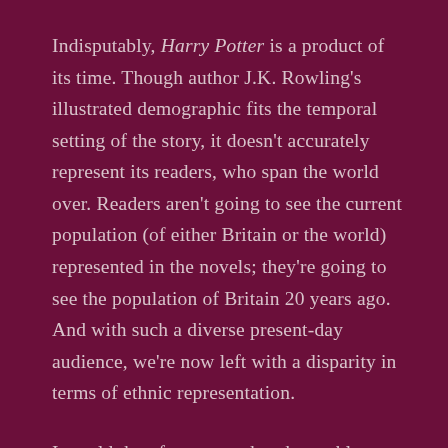Indisputably, Harry Potter is a product of its time. Though author J.K. Rowling's illustrated demographic fits the temporal setting of the story, it doesn't accurately represent its readers, who span the world over. Readers aren't going to see the current population (of either Britain or the world) represented in the novels; they're going to see the population of Britain 20 years ago. And with such a diverse present-day audience, we're now left with a disparity in terms of ethnic representation.
I would therefore argue that the problem doesn't necessarily lie in the number of non-white characters featured in the story, but rather the